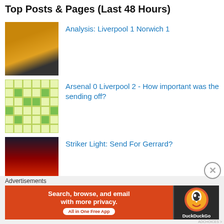Top Posts & Pages (Last 48 Hours)
Analysis: Liverpool 1 Norwich 1
Arsenal 0 Liverpool 2 - How important was the sending off?
Striker Light: Send For Gerrard?
Which Win At Old Trafford Is The Greater?
Advertisements
[Figure (screenshot): DuckDuckGo advertisement banner: 'Search, browse, and email with more privacy. All in One Free App' with DuckDuckGo logo on dark background]